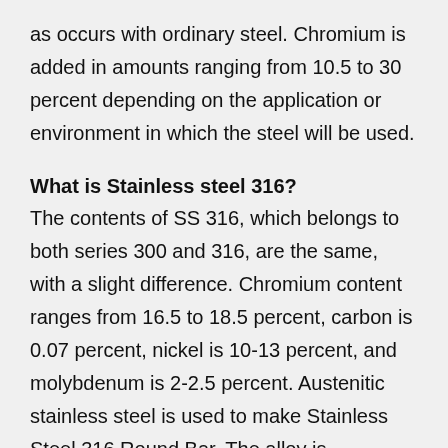as occurs with ordinary steel. Chromium is added in amounts ranging from 10.5 to 30 percent depending on the application or environment in which the steel will be used.
What is Stainless steel 316?
The contents of SS 316, which belongs to both series 300 and 316, are the same, with a slight difference. Chromium content ranges from 16.5 to 18.5 percent, carbon is 0.07 percent, nickel is 10-13 percent, and molybdenum is 2-2.5 percent. Austenitic stainless steel is used to make Stainless Steel 316 Round Bar. The alloy is composed of chromium, nickel, and molybdenum. At 20°C, the Ultimate Tensile Strength is